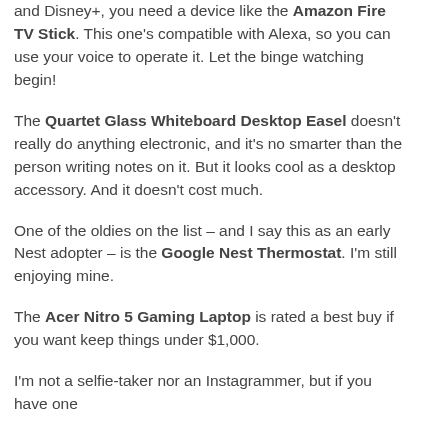and Disney+, you need a device like the Amazon Fire TV Stick. This one's compatible with Alexa, so you can use your voice to operate it. Let the binge watching begin!
The Quartet Glass Whiteboard Desktop Easel doesn't really do anything electronic, and it's no smarter than the person writing notes on it. But it looks cool as a desktop accessory. And it doesn't cost much.
One of the oldies on the list – and I say this as an early Nest adopter – is the Google Nest Thermostat. I'm still enjoying mine.
The Acer Nitro 5 Gaming Laptop is rated a best buy if you want keep things under $1,000.
I'm not a selfie-taker nor an Instagrammer, but if you have one